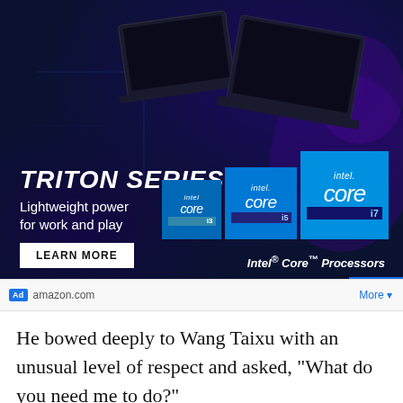[Figure (illustration): Acer Triton Series laptop advertisement on dark blue background with laptops, Intel Core processor badges (i3, i5, i7), text 'TRITON SERIES Lightweight power for work and play', LEARN MORE button, and 'Intel® Core™ Processors' label]
Ad  amazon.com  More ▾
He bowed deeply to Wang Taixu with an unusual level of respect and asked, “What do you need me to do?”